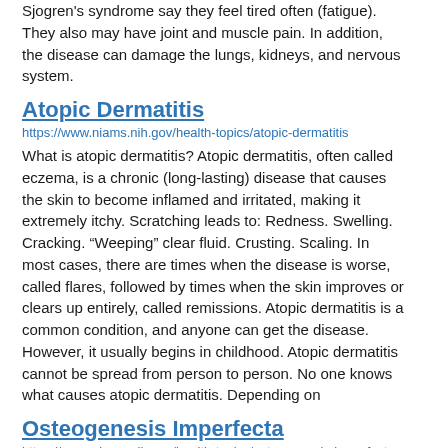Sjogren's syndrome say they feel tired often (fatigue). They also may have joint and muscle pain. In addition, the disease can damage the lungs, kidneys, and nervous system.
Atopic Dermatitis
https://www.niams.nih.gov/health-topics/atopic-dermatitis
What is atopic dermatitis? Atopic dermatitis, often called eczema, is a chronic (long-lasting) disease that causes the skin to become inflamed and irritated, making it extremely itchy. Scratching leads to: Redness. Swelling. Cracking. “Weeping” clear fluid. Crusting. Scaling. In most cases, there are times when the disease is worse, called flares, followed by times when the skin improves or clears up entirely, called remissions. Atopic dermatitis is a common condition, and anyone can get the disease. However, it usually begins in childhood. Atopic dermatitis cannot be spread from person to person. No one knows what causes atopic dermatitis. Depending on
Osteogenesis Imperfecta
https://www.niams.nih.gov/health-topics/osteogenesis-imperfecta
What is osteogenesis imperfecta? Osteogenesis imperfecta (OI) is a disease that causes your bones to break (fracture) easily. OI is also called brittle bone disease. Your symptoms may be mild or severe, depending on the type of OI you have.